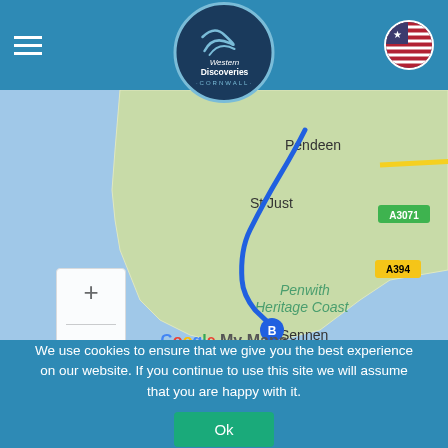[Figure (logo): Western Discoveries Cornwall circular logo on dark blue background with decorative script]
[Figure (map): Google My Maps screenshot showing the Penwith Heritage Coast area of Cornwall, UK, with a blue route line along the coast through Pendeen, St Just, and Sennen, ending at point B near Sennen]
We use cookies to ensure that we give you the best experience on our website. If you continue to use this site we will assume that you are happy with it.
Ok